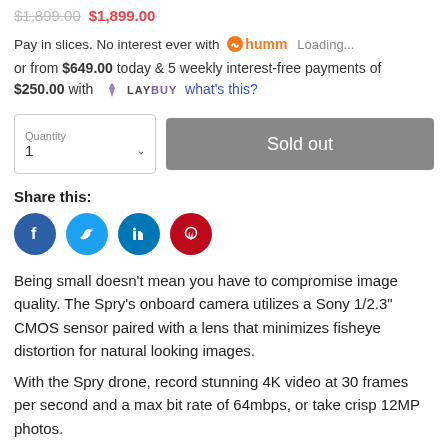Pay in slices. No interest ever with humm  Loading...
or from $649.00 today & 5 weekly interest-free payments of $250.00 with LAYBUY what's this?
[Figure (screenshot): Quantity selector showing '1' with dropdown arrow, and a grey 'Sold out' button]
Share this:
[Figure (infographic): Social sharing icons: Facebook (blue circle), Twitter (light blue circle), LinkedIn (teal circle), Pinterest (red circle)]
Being small doesn't mean you have to compromise image quality. The Spry's onboard camera utilizes a Sony 1/2.3" CMOS sensor paired with a lens that minimizes fisheye distortion for natural looking images.
With the Spry drone, record stunning 4K video at 30 frames per second and a max bit rate of 64mbps, or take crisp 12MP photos.